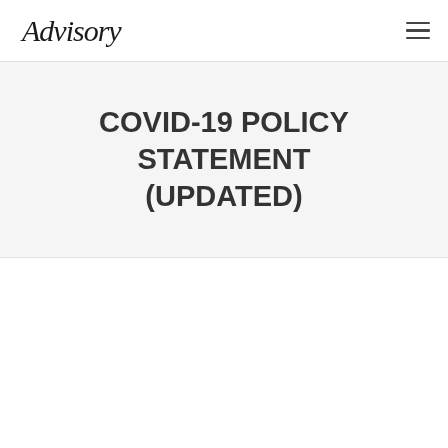Advisory
COVID-19 POLICY STATEMENT (UPDATED)